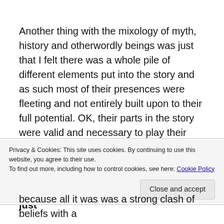Another thing with the mixology of myth, history and otherwordly beings was just that I felt there was a whole pile of different elements put into the story and as such most of their presences were fleeting and not entirely built upon to their full potential. OK, their parts in the story were valid and necessary to play their part, but I didn't get entirely not enough of them… I would have liked to have more of a hand in play by the Witches, dwarves, elves and spirits. But that's just
Privacy & Cookies: This site uses cookies. By continuing to use this website, you agree to their use.
To find out more, including how to control cookies, see here: Cookie Policy
Close and accept
because all it was was a strong clash of beliefs with a